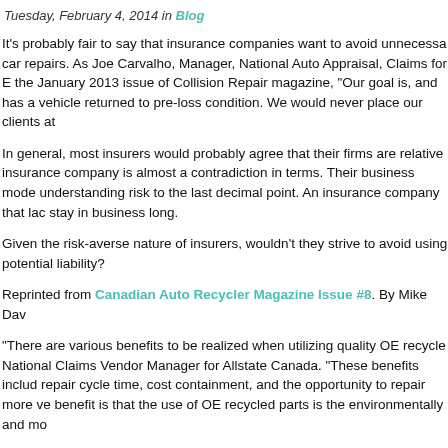Tuesday, February 4, 2014 in Blog
It's probably fair to say that insurance companies want to avoid unnecessary car repairs. As Joe Carvalho, Manager, National Auto Appraisal, Claims for E the January 2013 issue of Collision Repair magazine, "Our goal is, and has a vehicle returned to pre-loss condition. We would never place our clients at
In general, most insurers would probably agree that their firms are relative insurance company is almost a contradiction in terms. Their business mode understanding risk to the last decimal point. An insurance company that lac stay in business long.
Given the risk-averse nature of insurers, wouldn't they strive to avoid using potential liability?
Reprinted from Canadian Auto Recycler Magazine Issue #8. By Mike Dav
"There are various benefits to be realized when utilizing quality OE recycle National Claims Vendor Manager for Allstate Canada. "These benefits includ repair cycle time, cost containment, and the opportunity to repair more ve benefit is that the use of OE recycled parts is the environmentally and mo